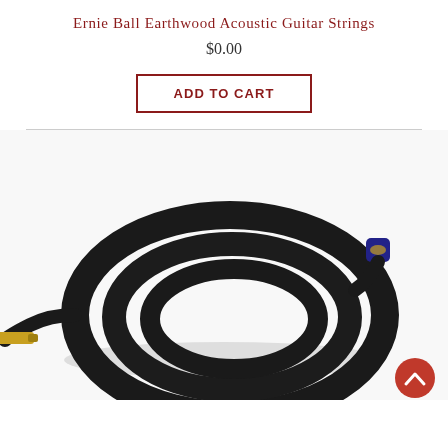Ernie Ball Earthwood Acoustic Guitar Strings
$0.00
ADD TO CART
[Figure (photo): A coiled black guitar cable with a gold/brass 1/4-inch jack plug on one end and a blue-banded connector on the other end, coiled in a circular shape on a white background.]